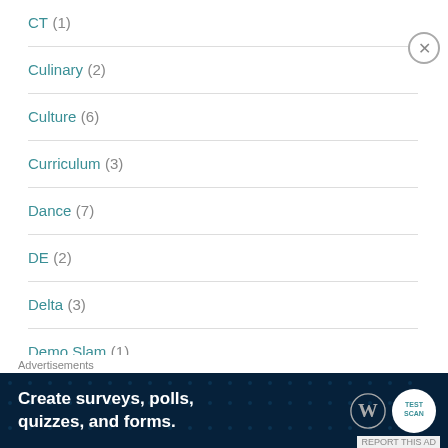CT (1)
Culinary (2)
Culture (6)
Curriculum (3)
Dance (7)
DE (2)
Delta (3)
Demo Slam (1)
Advertisements
[Figure (other): Advertisement banner: Create surveys, polls, quizzes, and forms. WordPress and FeverBee logos on dark blue background.]